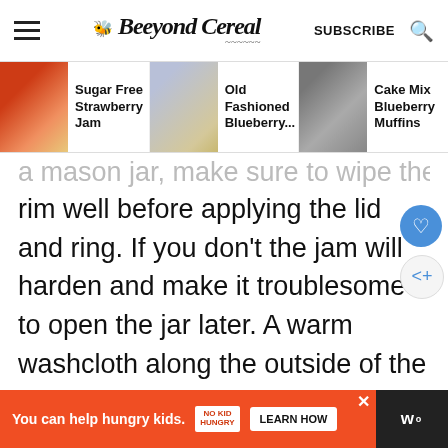Beeyond Cereal | SUBSCRIBE
[Figure (screenshot): Navigation row with three article thumbnails: Sugar Free Strawberry Jam, Old Fashioned Blueberry..., Cake Mix Blueberry Muffins]
a mason jar, make sure to wipe the rim well before applying the lid and ring. If you don't the jam will harden and make it troublesome to open the jar later. A warm washcloth along the outside of the jar is perfect for cleaning up any spills after fil...
[Figure (screenshot): WHAT'S NEXT arrow Sugar Free Strawberry... with thumbnail]
[Figure (screenshot): Advertisement bar: You can help hungry kids. No Kid Hungry. LEARN HOW]